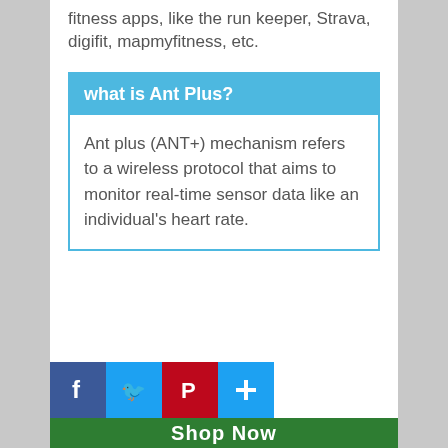fitness apps, like the run keeper, Strava, digifit, mapmyfitness, etc.
what is Ant Plus?
Ant plus (ANT+) mechanism refers to a wireless protocol that aims to monitor real-time sensor data like an individual's heart rate.